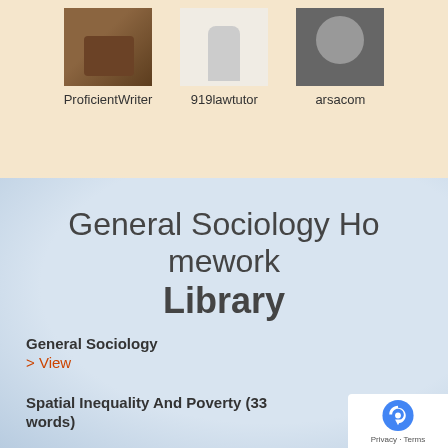[Figure (photo): Profile photo of ProficientWriter - book/camera image]
ProficientWriter
[Figure (photo): Profile photo of 919lawtutor - walking figure illustration]
919lawtutor
[Figure (photo): Profile photo of arsacom - person with glasses]
arsacom
General Sociology Homework Library
General Sociology
> View
Spatial Inequality And Poverty (33 words)